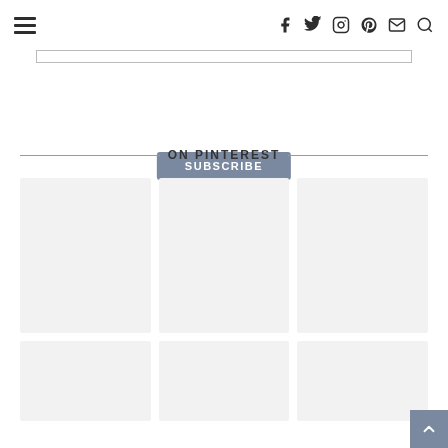Navigation header with hamburger menu and social icons (f, twitter, instagram, pinterest, mail, search)
SUBSCRIBE
ON PINTEREST
[Figure (other): 3x2 grid of empty light-gray Pinterest image placeholder boxes]
[Figure (other): Back to top button (chevron up on gray background) in bottom right corner]